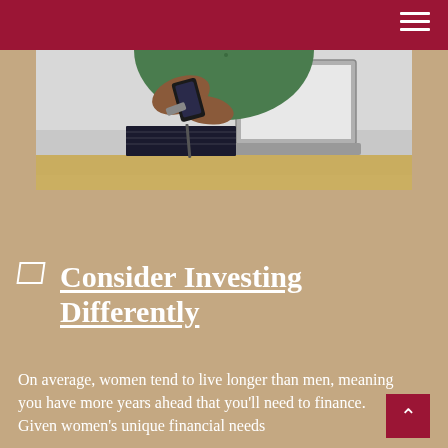[Figure (photo): Person in green shirt sitting at desk holding a phone, with a laptop and notebook on the desk]
Consider Investing Differently
On average, women tend to live longer than men, meaning you have more years ahead that you'll need to finance. Given women's unique financial needs